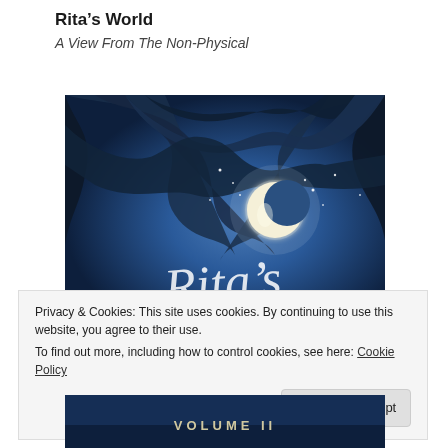Rita’s World
A View From The Non-Physical
[Figure (illustration): Book cover of Rita’s World: a dark blue fantasy illustration with twisted tree branches framing a crescent moon in a night sky with stars, and cursive text reading 'Rita's' visible at the bottom.]
Privacy & Cookies: This site uses cookies. By continuing to use this website, you agree to their use.
To find out more, including how to control cookies, see here: Cookie Policy
Close and accept
[Figure (illustration): Bottom portion of the Rita’s World book cover showing 'VOLUME II' text on a dark blue background.]